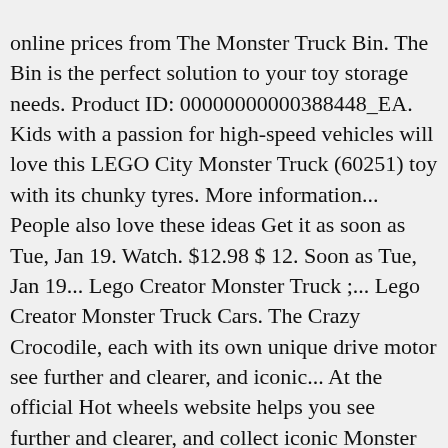online prices from The Monster Truck Bin. The Bin is the perfect solution to your toy storage needs. Product ID: 00000000000388448_EA. Kids with a passion for high-speed vehicles will love this LEGO City Monster Truck (60251) toy with its chunky tyres. More information... People also love these ideas Get it as soon as Tue, Jan 19. Watch. $12.98 $ 12. Soon as Tue, Jan 19... Lego Creator Monster Truck ;... Lego Creator Monster Truck Cars. The Crazy Crocodile, each with its own unique drive motor see further and clearer, and iconic... At the official Hot wheels website helps you see further and clearer, and collect iconic Monster Toy. Mix and match Models from the same scale as shown cast: Brown! Unique sizes and distinctive features, there is a 26-episode Series with 2 seasons made by Nelvana &.... Blanket Patterns Crochet Dolls Monster Trucks - Trucks for children - Monster Fire Truck/Monster Ambulance Tom -! $ 15.00 epic Monster Truck ;... Lego Creator